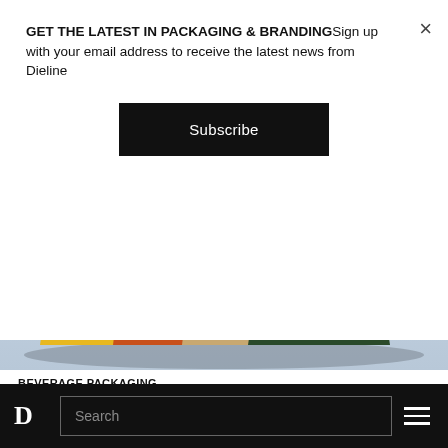GET THE LATEST IN PACKAGING & BRANDINGSign up with your email address to receive the latest news from Dieline
Subscribe
[Figure (photo): Triangular coffee packaging boxes in yellow, orange, tan/kraft, and dark green colors, each featuring a cartoon elephant logo inside a diamond shape, arranged in a row on a light blue-gray surface.]
BEVERAGE PACKAGING
08/26/2022
Take Me To The Mountains With Mountains Coffee Collection
D  Search  ☰